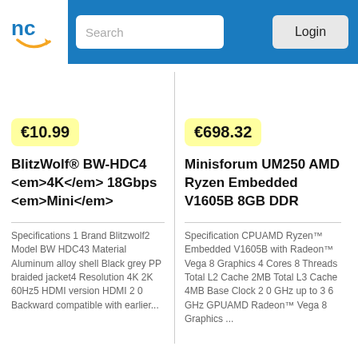nc [logo] Search Login
€10.99
BlitzWolf® BW-HDC4 <em>4K</em> 18Gbps <em>Mini</em>
Specifications 1 Brand Blitzwolf2 Model BW HDC43 Material Aluminum alloy shell Black grey PP braided jacket4 Resolution 4K 2K 60Hz5 HDMI version HDMI 2 0 Backward compatible with earlier...
€698.32
Minisforum UM250 AMD Ryzen Embedded V1605B 8GB DDR
Specification CPUAMD Ryzen™ Embedded V1605B with Radeon™ Vega 8 Graphics 4 Cores 8 Threads Total L2 Cache 2MB Total L3 Cache 4MB Base Clock 2 0 GHz up to 3 6 GHz GPUAMD Radeon™ Vega 8 Graphics ...